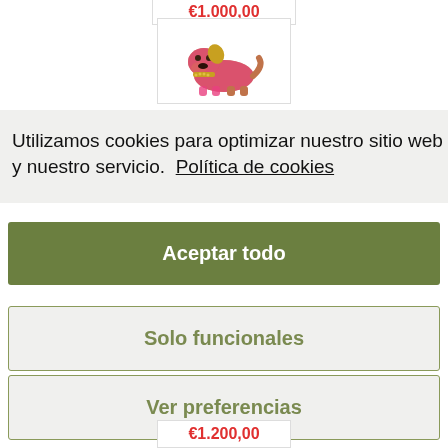€1.000,00
[Figure (photo): Pink and gold bulldog figurine/sculpture on white background]
Utilizamos cookies para optimizar nuestro sitio web y nuestro servicio.  Política de cookies
Aceptar todo
Solo funcionales
Ver preferencias
€1.200,00